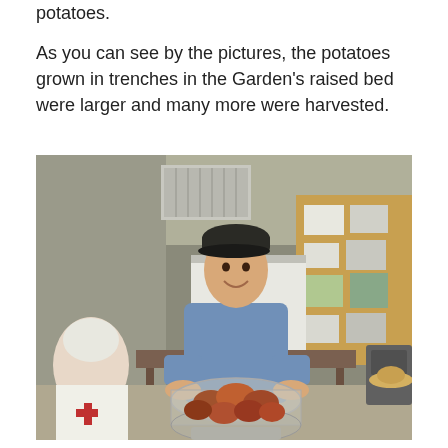potatoes.

As you can see by the pictures, the potatoes grown in trenches in the Garden's raised bed were larger and many more were harvested.
[Figure (photo): A smiling man wearing a dark baseball cap and blue long-sleeve shirt holds a clear plastic container filled with red/brown potatoes. Behind him is a classroom setting with a whiteboard, bulletin board with papers, tables and chairs, and a woman with white hair seated to the left smiling.]